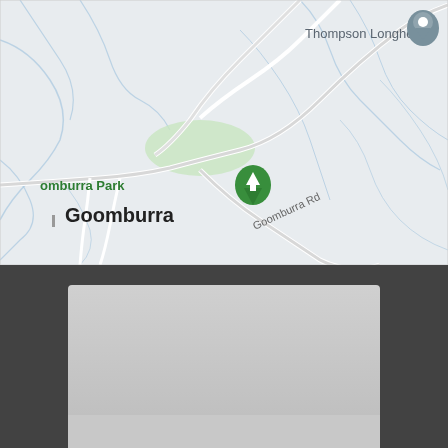[Figure (map): Google Maps screenshot showing Goomburra area in Queensland, Australia. Shows Goomburra Park with a green tree pin marker, Thompson Longhorn with a grey location pin marker, and Goomburra Rd road label. The map has a light grey background with blue waterway lines and white roads.]
[Figure (other): Bottom section showing a dark grey/charcoal toolbar or UI element with a lighter grey rectangular panel raised above it, resembling a mobile app bottom bar or street view placeholder panel.]